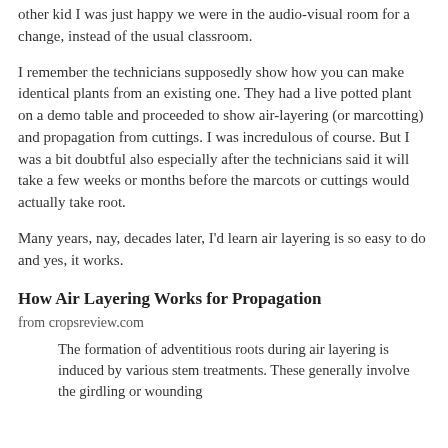other kid I was just happy we were in the audio-visual room for a change, instead of the usual classroom.
I remember the technicians supposedly show how you can make identical plants from an existing one. They had a live potted plant on a demo table and proceeded to show air-layering (or marcotting) and propagation from cuttings. I was incredulous of course. But I was a bit doubtful also especially after the technicians said it will take a few weeks or months before the marcots or cuttings would actually take root.
Many years, nay, decades later, I'd learn air layering is so easy to do and yes, it works.
How Air Layering Works for Propagation
from cropsreview.com
The formation of adventitious roots during air layering is induced by various stem treatments. These generally involve the girdling or wounding